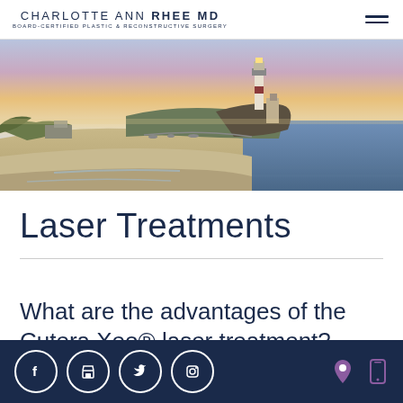CHARLOTTE ANN RHEE MD — BOARD-CERTIFIED PLASTIC & RECONSTRUCTIVE SURGERY
[Figure (photo): Coastal landscape at sunset with a lighthouse on a rocky point, sandy beach in the foreground, and ocean under a colorful sky]
Laser Treatments
What are the advantages of the Cutera Xeo® laser treatment?
Social icons: Facebook, Store, Twitter, Instagram | Location icon | Mobile icon